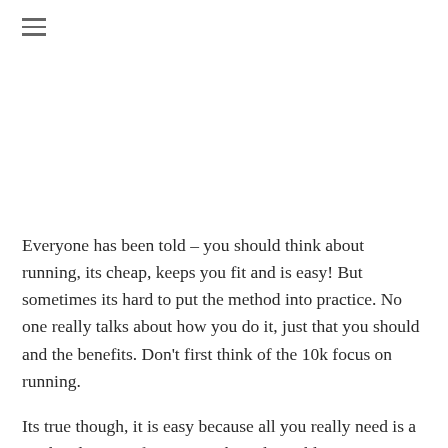≡
Everyone has been told – you should think about running, its cheap, keeps you fit and is easy! But sometimes its hard to put the method into practice. No one really talks about how you do it, just that you should and the benefits. Don't first think of the 10k focus on running.
Its true though, it is easy because all you really need is a road and a pair of trainers – the only problem is